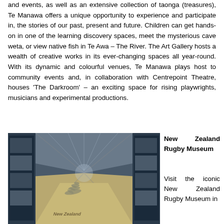and events, as well as an extensive collection of taonga (treasures), Te Manawa offers a unique opportunity to experience and participate in, the stories of our past, present and future. Children can get hands-on in one of the learning discovery spaces, meet the mysterious cave weta, or view native fish in Te Awa – The River. The Art Gallery hosts a wealth of creative works in its ever-changing spaces all year-round. With its dynamic and colourful venues, Te Manawa plays host to community events and, in collaboration with Centrepoint Theatre, houses 'The Darkroom' – an exciting space for rising playwrights, musicians and experimental productions.
[Figure (photo): Interior corridor of Te Manawa museum showing display cases along the walls and a large New Zealand silver fern carpet with 'New Zealand' text visible on the floor]
New Zealand Rugby Museum
Visit the iconic New Zealand Rugby Museum in